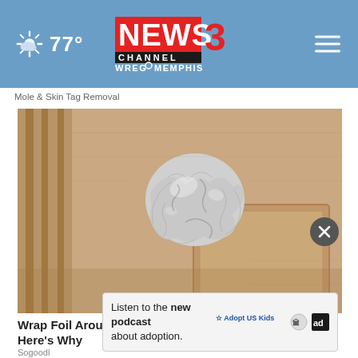NEWS3 CHANNEL WREG MEMPHIS | 77°
Mole & Skin Tag Removal
[Figure (photo): Close-up photo of a door knob wrapped in aluminum foil, mounted on a tan/beige wood-panel interior door]
Wrap Foil Around Your Door Knob at Night if Alone, Here's Why
Sogoodl
Listen to the new podcast about adoption.  ☆ Adopt US Kids